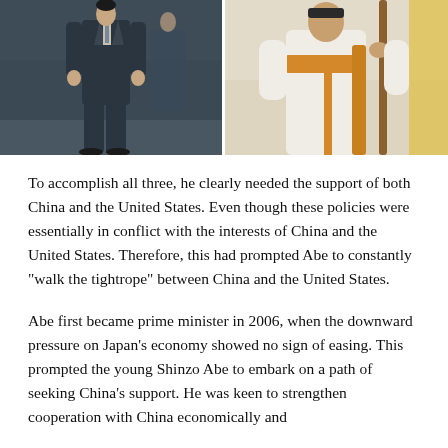[Figure (photo): Two-panel photograph: left panel shows a person in a dark suit walking, right panel shows a person in white ceremonial robes holding a staff with an orange sash.]
To accomplish all three, he clearly needed the support of both China and the United States. Even though these policies were essentially in conflict with the interests of China and the United States. Therefore, this had prompted Abe to constantly “walk the tightrope” between China and the United States.
Abe first became prime minister in 2006, when the downward pressure on Japan’s economy showed no sign of easing. This prompted the young Shinzo Abe to embark on a path of seeking China’s support. He was keen to strengthen cooperation with China economically and